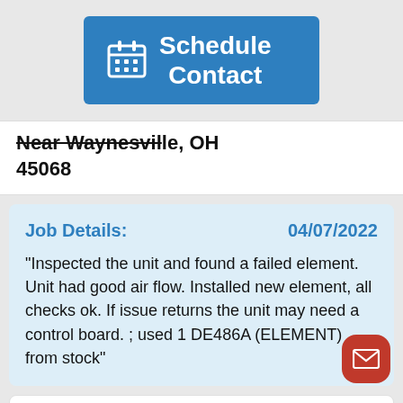[Figure (other): Blue 'Schedule Contact' button with calendar icon]
Near Waynesville, OH 45068
Job Details: 04/07/2022
"Inspected the unit and found a failed element. Unit had good air flow. Installed new element, all checks ok. If issue returns the unit may need a control board. ; used 1 DE486A (ELEMENT) from stock"
We serviced a
[Figure (other): Red floating action button with envelope/email icon]